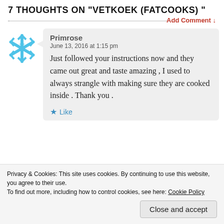7 THOUGHTS ON "VETKOEK (FATCOOKS)"
Add Comment ↓
Primrose
June 13, 2016 at 1:15 pm

Just followed your instructions now and they came out great and taste amazing , I used to always strangle with making sure they are cooked inside . Thank you .
Like
Advertisements
Privacy & Cookies: This site uses cookies. By continuing to use this website, you agree to their use.
To find out more, including how to control cookies, see here: Cookie Policy
Close and accept